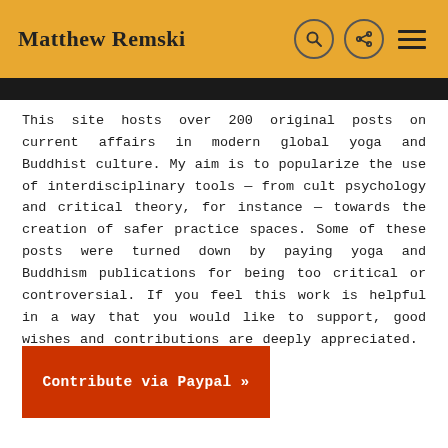Matthew Remski
This site hosts over 200 original posts on current affairs in modern global yoga and Buddhist culture. My aim is to popularize the use of interdisciplinary tools — from cult psychology and critical theory, for instance — towards the creation of safer practice spaces. Some of these posts were turned down by paying yoga and Buddhism publications for being too critical or controversial. If you feel this work is helpful in a way that you would like to support, good wishes and contributions are deeply appreciated. Read more...
Contribute via Paypal »